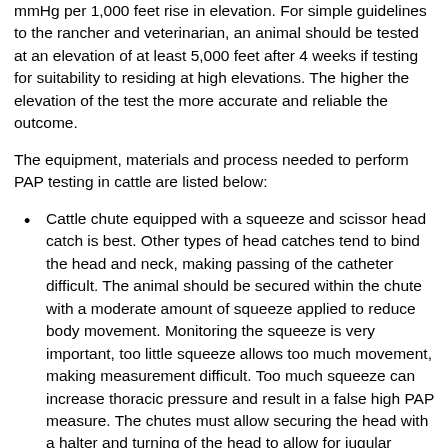mmHg per 1,000 feet rise in elevation. For simple guidelines to the rancher and veterinarian, an animal should be tested at an elevation of at least 5,000 feet after 4 weeks if testing for suitability to residing at high elevations. The higher the elevation of the test the more accurate and reliable the outcome.
The equipment, materials and process needed to perform PAP testing in cattle are listed below:
Cattle chute equipped with a squeeze and scissor head catch is best. Other types of head catches tend to bind the head and neck, making passing of the catheter difficult. The animal should be secured within the chute with a moderate amount of squeeze applied to reduce body movement. Monitoring the squeeze is very important, too little squeeze allows too much movement, making measurement difficult. Too much squeeze can increase thoracic pressure and result in a false high PAP measure. The chutes must allow securing the head with a halter and turning of the head to allow for jugular exposure
Adequate labor for handling cattle efficiently and safely. This